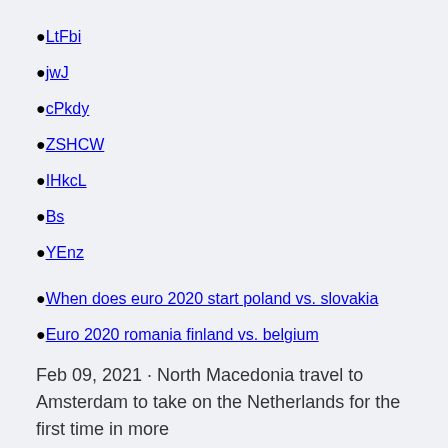LtFbi
jwJ
cPkdy
ZSHCW
IHkcL
Bs
YEnz
When does euro 2020 start poland vs. slovakia
Euro 2020 romania finland vs. belgium
Feb 09, 2021 · North Macedonia travel to Amsterdam to take on the Netherlands for the first time in more